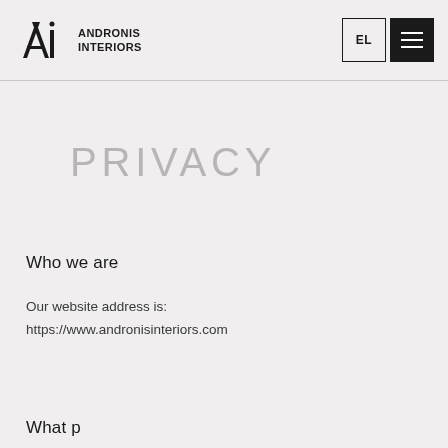ANDRONIS INTERIORS | EL | [menu]
PRIVACY
Who we are
Our website address is:
https://www.andronisinteriors.com
What p...